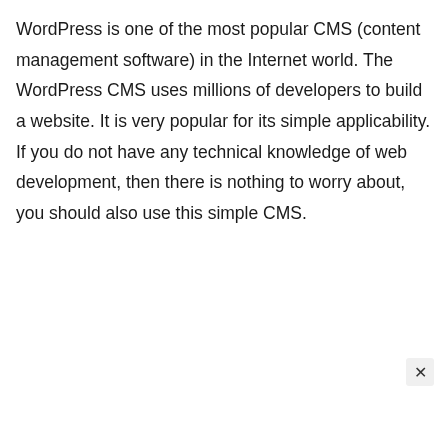WordPress is one of the most popular CMS (content management software) in the Internet world. The WordPress CMS uses millions of developers to build a website. It is very popular for its simple applicability. If you do not have any technical knowledge of web development, then there is nothing to worry about, you should also use this simple CMS.